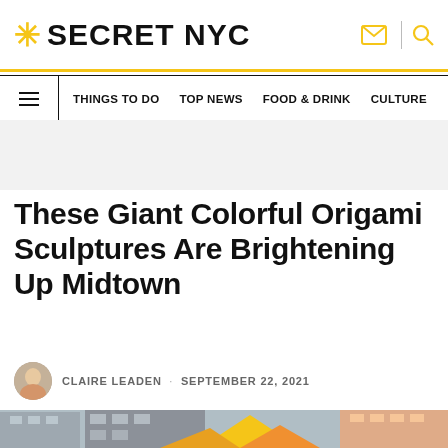SECRET NYC
THINGS TO DO  TOP NEWS  FOOD & DRINK  CULTURE
These Giant Colorful Origami Sculptures Are Brightening Up Midtown
CLAIRE LEADEN · SEPTEMBER 22, 2021
[Figure (photo): Colorful giant origami sculptures installed in Midtown Manhattan street scene with buildings in background]